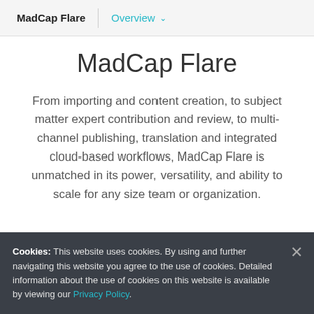MadCap Flare | Overview
MadCap Flare
From importing and content creation, to subject matter expert contribution and review, to multi-channel publishing, translation and integrated cloud-based workflows, MadCap Flare is unmatched in its power, versatility, and ability to scale for any size team or organization.
Cookies: This website uses cookies. By using and further navigating this website you agree to the use of cookies. Detailed information about the use of cookies on this website is available by viewing our Privacy Policy.